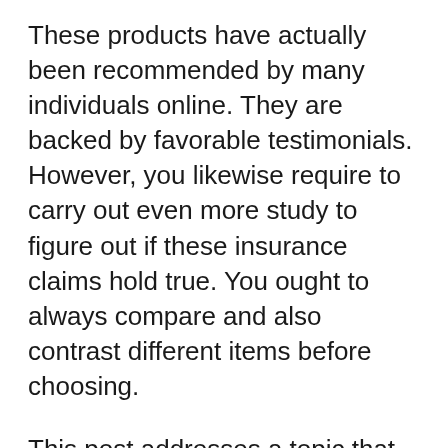These products have actually been recommended by many individuals online. They are backed by favorable testimonials. However, you likewise require to carry out even more study to figure out if these insurance claims hold true. You ought to always compare and also contrast different items before choosing.
This post addresses a topic that lots of guys shy away from- penis dimension. Most guys really feel unpleasant discussing this topic but deep inside they are troubled regarding their penis size. They can not also open to physicians; therefore, the problem remains unresolved.
It appears that individuals are beginning to